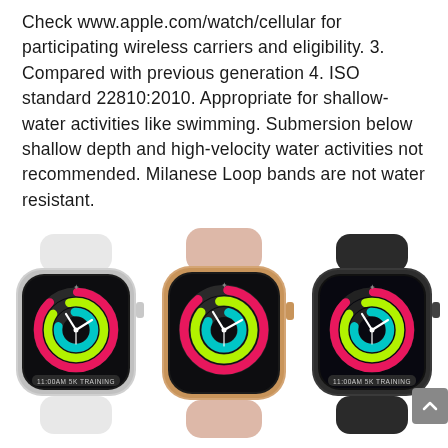Check www.apple.com/watch/cellular for participating wireless carriers and eligibility. 3. Compared with previous generation 4. ISO standard 22810:2010. Appropriate for shallow-water activities like swimming. Submersion below shallow depth and high-velocity water activities not recommended. Milanese Loop bands are not water resistant.
[Figure (photo): Three Apple Watch Series 3 models shown side by side: left is silver aluminum with white sport band showing activity rings and '11:00am 5K TRAINING', center is gold aluminum with pink sand sport band showing activity rings, right is space gray aluminum with black sport band showing activity rings and '11:00am 5K TRAINING'. All show the colorful activity rings watch face.]